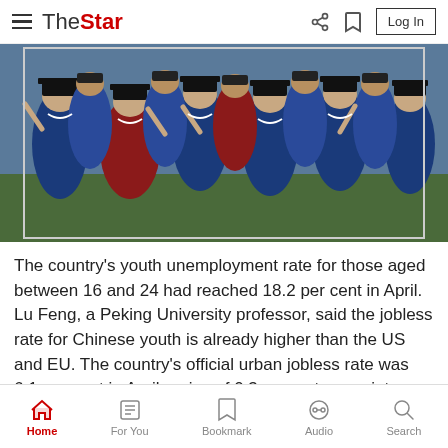The Star — Log In
[Figure (photo): Group of university graduates in blue and red academic gowns and mortarboard caps, waving and smiling at a graduation ceremony.]
The country's youth unemployment rate for those aged between 16 and 24 had reached 18.2 per cent in April. Lu Feng, a Peking University professor, said the jobless rate for Chinese youth is already higher than the US and EU. The country's official urban jobless rate was 6.1 per cent in April, a rise of 0.3 percentage points from March.
Read unlimited content without ads. More info on our Premium Plan. >
Home | For You | Bookmark | Audio | Search